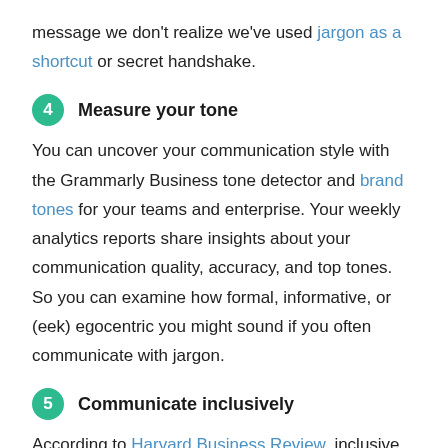message we don't realize we've used jargon as a shortcut or secret handshake.
4  Measure your tone
You can uncover your communication style with the Grammarly Business tone detector and brand tones for your teams and enterprise. Your weekly analytics reports share insights about your communication quality, accuracy, and top tones. So you can examine how formal, informative, or (eek) egocentric you might sound if you often communicate with jargon.
5  Communicate inclusively
According to Harvard Business Review, inclusive leaders